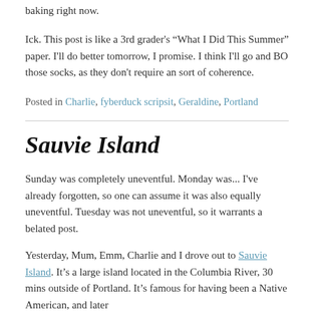baking right now.
Ick. This post is like a 3rd grader's “What I Did This Summer” paper. I'll do better tomorrow, I promise. I think I'll go and BO those socks, as they don't require an sort of coherence.
Posted in Charlie, fyberduck scripsit, Geraldine, Portland
Sauvie Island
Sunday was completely uneventful. Monday was... I've already forgotten, so one can assume it was also equally uneventful. Tuesday was not uneventful, so it warrants a belated post.
Yesterday, Mum, Emm, Charlie and I drove out to Sauvie Island. It’s a large island located in the Columbia River, 30 mins outside of Portland. It’s famous for having been a Native American, and later